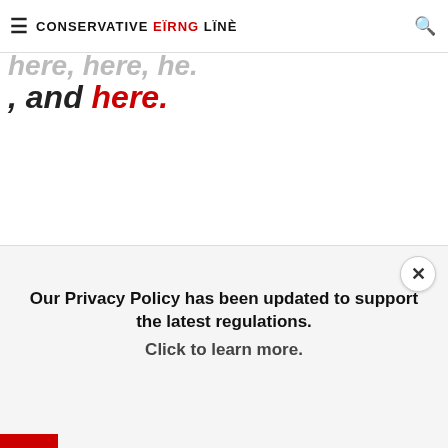CONSERVATIVE FIRING LINE
, and here.
[Figure (photo): Photo of Florida's Stonehenge (Coral Castle) with crescent-shaped stone, overlaid with text: 'How was it possible for one person to move massive blocks for Florida's Stonehenge? Enjoy this link to free Wikipedia content. This newsletter is not endorsed or sponsored by Wikipedia or']
Our Privacy Policy has been updated to support the latest regulations. Click to learn more.